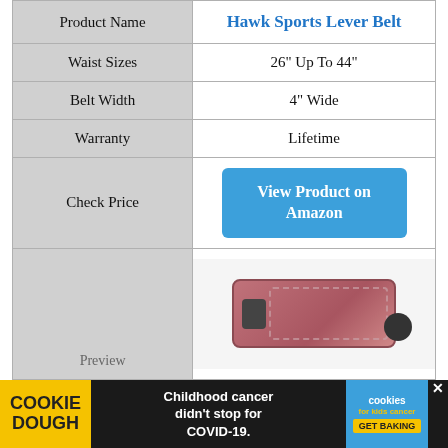| Product Name | Hawk Sports Lever Belt |
| --- | --- |
| Waist Sizes | 26" Up To 44" |
| Belt Width | 4" Wide |
| Warranty | Lifetime |
| Check Price | View Product on Amazon |
| Preview | [product image] |
[Figure (photo): Advertisement banner: Cookie Dough brand, text 'Childhood cancer didn't stop for COVID-19. GET BAKING', Cookies for Kids Cancer logo]